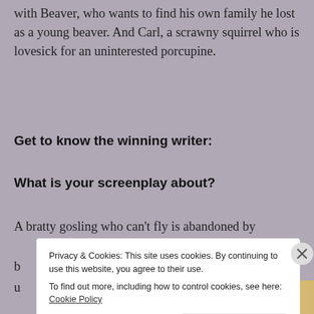with Beaver, who wants to find his own family he lost as a young beaver. And Carl, a scrawny squirrel who is lovesick for an uninterested porcupine.
Get to know the winning writer:
What is your screenplay about?
A bratty gosling who can't fly is abandoned by
b
u
Privacy & Cookies: This site uses cookies. By continuing to use this website, you agree to their use. To find out more, including how to control cookies, see here: Cookie Policy
Close and accept